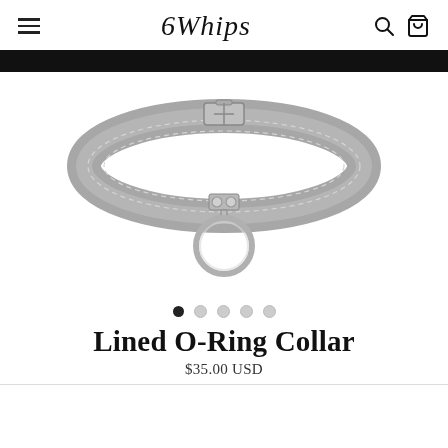6Whips
[Figure (photo): A gray leather lined O-ring collar with silver hardware, buckle at the top, two rivets in the center front, and a large silver O-ring hanging from the front center.]
Lined O-Ring Collar
$35.00 USD